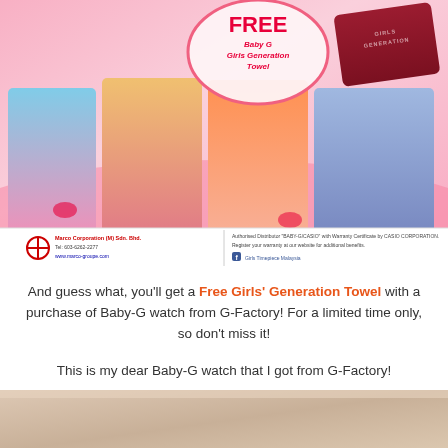[Figure (photo): Colorful Baby-G Girls' Generation advertisement showing K-pop girl group members with 'FREE Baby G Girls Generation Towel' bubble text, a dark red towel product image, and distributor details at the bottom (Marco Corporation M Sdn Bhd and Girls Timepiece Malaysia Facebook)]
And guess what, you'll get a Free Girls' Generation Towel with a purchase of Baby-G watch from G-Factory! For a limited time only, so don't miss it!
This is my dear Baby-G watch that I got from G-Factory!
[Figure (photo): Bottom portion of a photo showing what appears to be a light-colored surface, possibly showing the Baby-G watch]